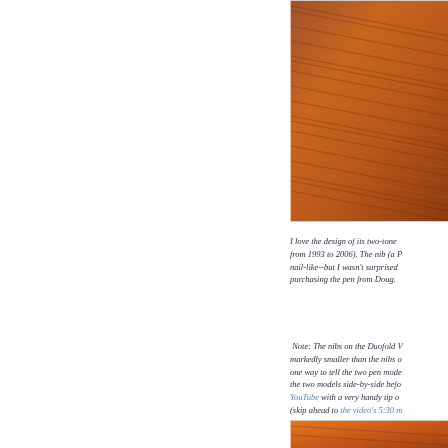[Figure (photo): Close-up photo of wood grain texture in warm brown/orange tones]
I love the design of its two-tone ... from 1993 to 2006). The nib (a P... nail-like--but I wasn't surprised ... purchasing the pen from Doug.
Note: The nibs on the Duofold V... markedly smaller than the nibs o... one way to tell the two pen mode... the two models side-by-side befo... YouTube with a very handy tip o... (skip ahead to the video's 5:30 m... information).
[Figure (photo): Partial photo visible at bottom, appears to be another wood/pen detail in orange tones]